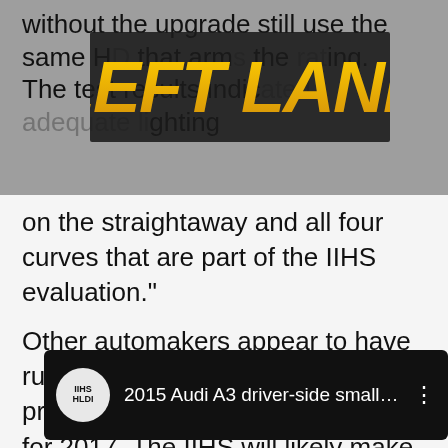without the upgrade still use the same HD that arm the rating. The test results indicated adequate lighting on the straightaway and all four curves that are part of the IIHS evaluation."
[Figure (logo): Left Lane logo — bold yellow italic text on dark background]
Other automakers appear to have rushed new headlights into production to achieve TSP+ status for 2017. The IIHS will likely make the rules even tighter at some point, potentially requiring a 'good' headlight rating for the top safety award.
[Figure (screenshot): YouTube video thumbnail showing IIHS logo and title: 2015 Audi A3 driver-side small ove...]